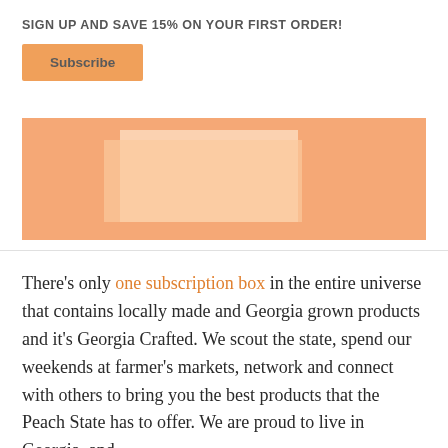×
SIGN UP AND SAVE 15% ON YOUR FIRST ORDER!
Subscribe
[Figure (illustration): Orange/peach colored background box with a lighter peach rectangular shape suggesting a subscription box product image]
There's only one subscription box in the entire universe that contains locally made and Georgia grown products and it's Georgia Crafted. We scout the state, spend our weekends at farmer's markets, network and connect with others to bring you the best products that the Peach State has to offer. We are proud to live in Georgia, and